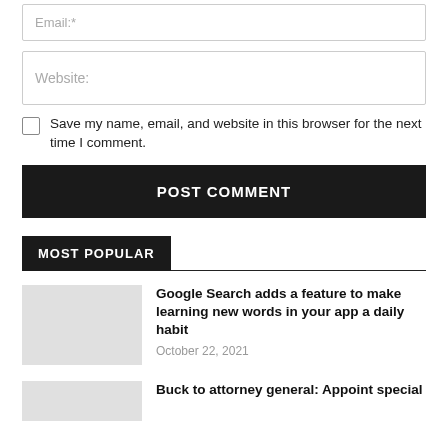Email:*
Website:
Save my name, email, and website in this browser for the next time I comment.
POST COMMENT
MOST POPULAR
Google Search adds a feature to make learning new words in your app a daily habit
October 22, 2021
Buck to attorney general: Appoint special